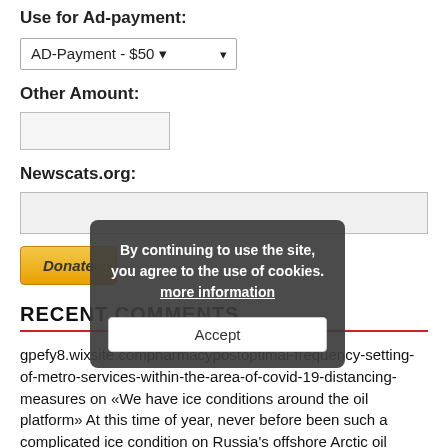Use for Ad-payment:
AD-Payment - $50 ▾
Other Amount:
Newscats.org:
[Figure (other): PayPal Donate button with golden gradient styling]
RECENT COMMENTS
gpefy8.wixsite.compharmacypostoptimal-frequency-setting-of-metro-services-within-the-area-of-covid-19-distancing-measures on «We have ice conditions around the oil platform» At this time of year, never before been such a complicated ice condition on Russia's offshore Arctic oil platform «Prirazlomnaya».
By continuing to use the site, you agree to the use of cookies. more information
Accept